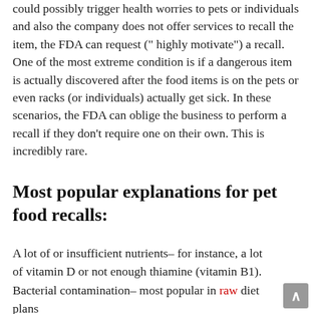could possibly trigger health worries to pets or individuals and also the company does not offer services to recall the item, the FDA can request (“ highly motivate”) a recall. One of the most extreme condition is if a dangerous item is actually discovered after the food items is on the pets or even racks (or individuals) actually get sick. In these scenarios, the FDA can oblige the business to perform a recall if they don’t require one on their own. This is incredibly rare.
Most popular explanations for pet food recalls:
A lot of or insufficient nutrients– for instance, a lot of vitamin D or not enough thiamine (vitamin B1).
Bacterial contamination– most popular in raw diet plans